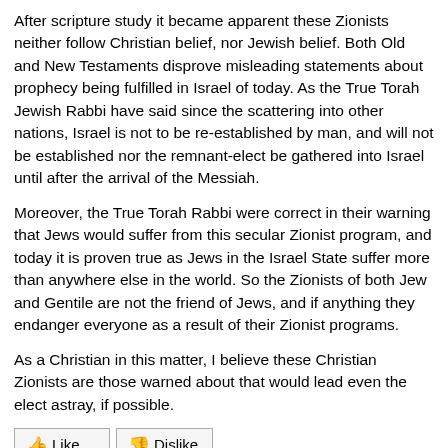After scripture study it became apparent these Zionists neither follow Christian belief, nor Jewish belief. Both Old and New Testaments disprove misleading statements about prophecy being fulfilled in Israel of today. As the True Torah Jewish Rabbi have said since the scattering into other nations, Israel is not to be re-established by man, and will not be established nor the remnant-elect be gathered into Israel until after the arrival of the Messiah.
Moreover, the True Torah Rabbi were correct in their warning that Jews would suffer from this secular Zionist program, and today it is proven true as Jews in the Israel State suffer more than anywhere else in the world. So the Zionists of both Jew and Gentile are not the friend of Jews, and if anything they endanger everyone as a result of their Zionist programs.
As a Christian in this matter, I believe these Christian Zionists are those warned about that would lead even the elect astray, if possible.
[Figure (other): Like and Dislike buttons with thumbs up (green) and thumbs down (red) icons]
Note: Opinions expressed in comments are those of the authors alone and not necessarily those of Daniel Pipes.